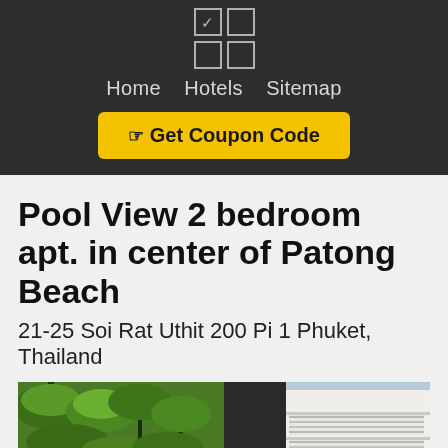[Figure (logo): Icon grid with checkbox and square icons in dark header]
Home   Hotels   Sitemap
☞ Get Coupon Code
Pool View 2 bedroom apt. in center of Patong Beach
21-25 Soi Rat Uthit 200 Pi 1 Phuket, Thailand
[Figure (photo): Two side-by-side photos: left shows tropical palm trees and greenery, right shows a white multi-story hotel building exterior]